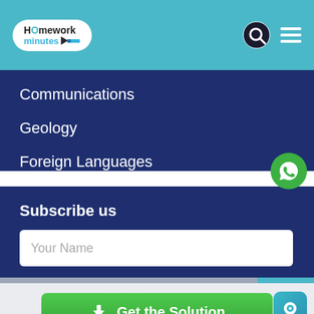[Figure (logo): HomeworkMinutes logo with pencil icon in white rounded rectangle header]
Communications
Geology
Foreign Languages
Subscribe us
Your Name (input field placeholder)
[Figure (screenshot): Get the Solution green button with download icon]
Great! We have found the solution of this question!